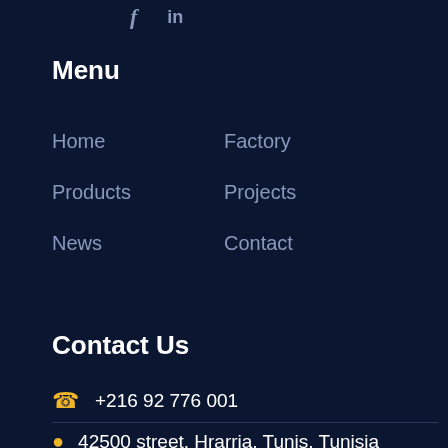[Figure (other): Social media icons: f (Facebook) and in (LinkedIn)]
Menu
Home
Factory
Products
Projects
News
Contact
Contact Us
+216 92 776 001
42500 street, Hrarria, Tunis, Tunisia